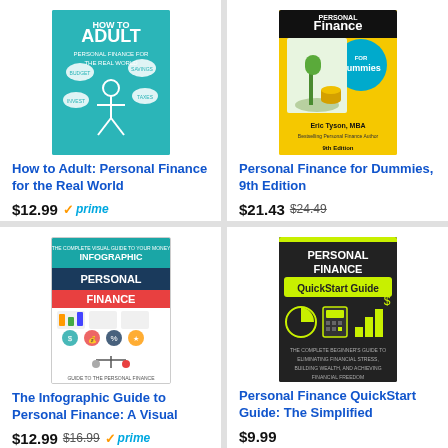[Figure (illustration): Book cover: How to Adult: Personal Finance for the Real World – teal/green cover with stick figure and thought bubbles]
How to Adult: Personal Finance for the Real World
$12.99 ✓prime
★★★★½ (260)
[Figure (illustration): Book cover: Personal Finance for Dummies, 9th Edition – yellow and black Dummies cover with plant growing from coins]
Personal Finance for Dummies, 9th Edition
$21.43 $24.49
★★★★½ (1,079)
[Figure (illustration): Book cover: The Infographic Guide to Personal Finance: A Visual – white cover with infographic charts and icons]
The Infographic Guide to Personal Finance: A Visual
$12.99 $16.99 ✓prime
★★★★½ (891)
[Figure (illustration): Book cover: Personal Finance QuickStart Guide: The Simplified – dark cover with green/yellow charts and calculator icons]
Personal Finance QuickStart Guide: The Simplified
$9.99
★★★★½ (621)